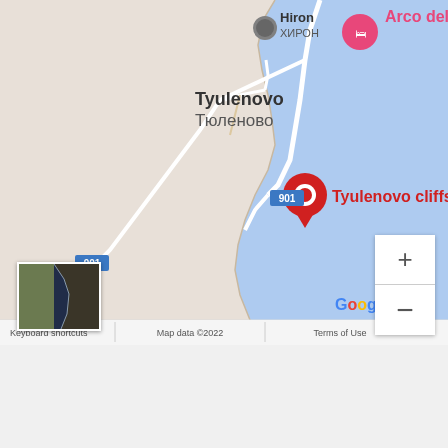[Figure (map): Google Map showing Tyulenovo / Тюленово area in Bulgaria with coastline. Markers: Hiron/ХИРОН (gray), Arco del mar (pink hotel marker), Tyulenovo cliffs (red pin). Road 901 shown. Black Sea coast visible on right. Zoom controls (+/-) on right side. Small satellite thumbnail in bottom-left corner. Google logo and attribution bar at bottom.]
Pin it to your travel board: